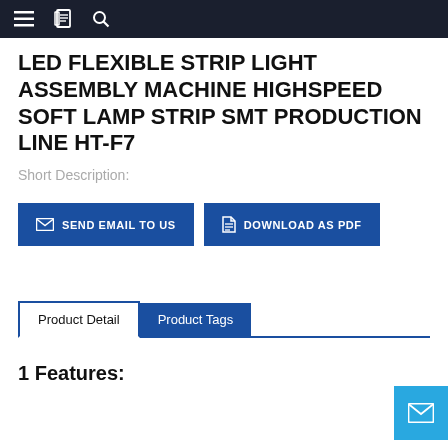Navigation bar with menu, bookmark, and search icons
LED FLEXIBLE STRIP LIGHT ASSEMBLY MACHINE HIGHSPEED SOFT LAMP STRIP SMT PRODUCTION LINE HT-F7
Short Description:
SEND EMAIL TO US
DOWNLOAD AS PDF
Product Detail
Product Tags
1 Features: